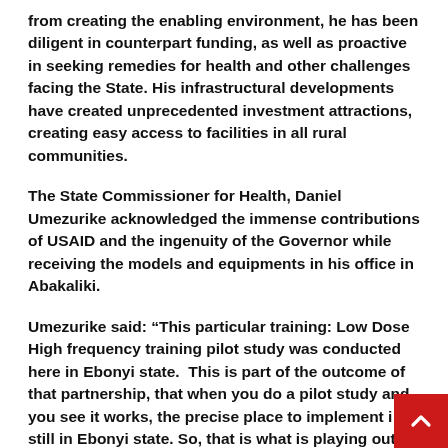from creating the enabling environment, he has been diligent in counterpart funding, as well as proactive in seeking remedies for health and other challenges facing the State. His infrastructural developments have created unprecedented investment attractions, creating easy access to facilities in all rural communities.
The State Commissioner for Health, Daniel Umezurike acknowledged the immense contributions of USAID and the ingenuity of the Governor while receiving the models and equipments in his office in Abakaliki.
Umezurike said: “This particular training: Low Dose High frequency training pilot study was conducted here in Ebonyi state.  This is part of the outcome of that partnership, that when you do a pilot study and you see it works, the precise place to implement is still in Ebonyi state. So, that is what is playing out.